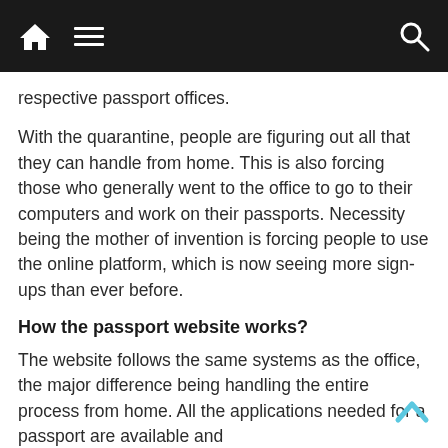Navigation bar with home icon, menu icon, and search icon
respective passport offices.
With the quarantine, people are figuring out all that they can handle from home. This is also forcing those who generally went to the office to go to their computers and work on their passports. Necessity being the mother of invention is forcing people to use the online platform, which is now seeing more sign-ups than ever before.
How the passport website works?
The website follows the same systems as the office, the major difference being handling the entire process from home. All the applications needed for a passport are available and